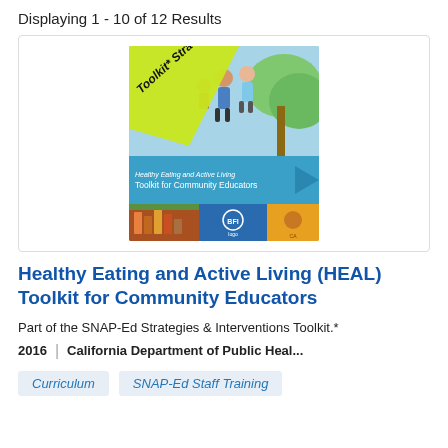Displaying 1 - 10 of 12 Results
[Figure (illustration): Book cover for Healthy Eating and Active Living Toolkit for Community Educators, showing a diagonal yellow-green banner with 'Toolkit* Strategy', photos of people being active, a cyan/teal band with the title text, and a bottom strip with grocery/community images and logos.]
Healthy Eating and Active Living (HEAL) Toolkit for Community Educators
Part of the SNAP-Ed Strategies & Interventions Toolkit.*
2016 | California Department of Public Heal...
Curriculum
SNAP-Ed Staff Training